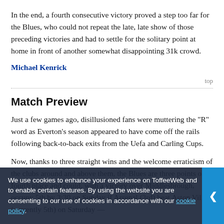In the end, a fourth consecutive victory proved a step too far for the Blues, who could not repeat the late, late show of those preceding victories and had to settle for the solitary point at home in front of another somewhat disappointing 31k crowd.
Michael Kenrick
top
Match Preview
Just a few games ago, disillusioned fans were muttering the "R" word as Everton's season appeared to have come off the rails following back-to-back exits from the Uefa and Carling Cups.
Now, thanks to three straight wins and the welcome erraticism of the clubs around and above them, the Blues are three points off fourth place and could, with a victory over Middlesbrough, occupy 5th by 3:30 on Sunday if Arsenal (3rd) beat Aston Villa (currently 5th) on Saturday —
We use cookies to enhance your experience on ToffeeWeb and to enable certain features. By using the website you are consenting to our use of cookies in accordance with our cookie policy.